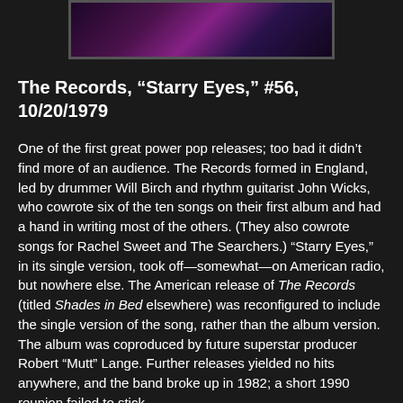[Figure (photo): Partial top of a colorful concert/performance photo with purple and pink stage lights, cropped at top of page]
The Records, “Starry Eyes,” #56, 10/20/1979
One of the first great power pop releases; too bad it didn’t find more of an audience. The Records formed in England, led by drummer Will Birch and rhythm guitarist John Wicks, who cowrote six of the ten songs on their first album and had a hand in writing most of the others. (They also cowrote songs for Rachel Sweet and The Searchers.) “Starry Eyes,” in its single version, took off—somewhat—on American radio, but nowhere else. The American release of The Records (titled Shades in Bed elsewhere) was reconfigured to include the single version of the song, rather than the album version. The album was coproduced by future superstar producer Robert “Mutt” Lange. Further releases yielded no hits anywhere, and the band broke up in 1982; a short 1990 reunion failed to stick.
[Figure (screenshot): A video thumbnail showing a video player interface with a pink X button on the left, the text 'The Records - Star...' and a vertical dots menu icon on the right, against a dark brownish background]